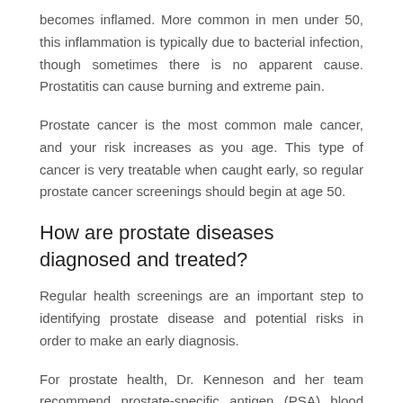becomes inflamed. More common in men under 50, this inflammation is typically due to bacterial infection, though sometimes there is no apparent cause. Prostatitis can cause burning and extreme pain.
Prostate cancer is the most common male cancer, and your risk increases as you age. This type of cancer is very treatable when caught early, so regular prostate cancer screenings should begin at age 50.
How are prostate diseases diagnosed and treated?
Regular health screenings are an important step to identifying prostate disease and potential risks in order to make an early diagnosis.
For prostate health, Dr. Kenneson and her team recommend prostate-specific antigen (PSA) blood tests and